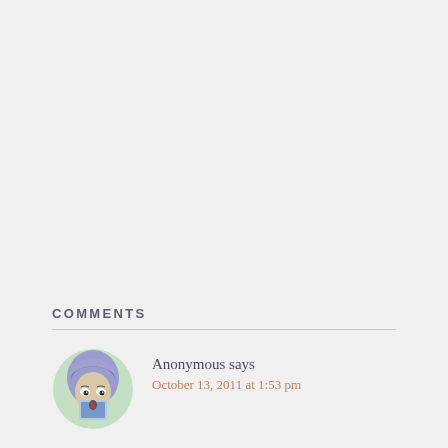COMMENTS
[Figure (illustration): Cartoon avatar of a character wearing a hijab/hood with wide eyes and a surprised expression, teal/mint green background circle]
Anonymous says
October 13, 2011 at 1:53 pm